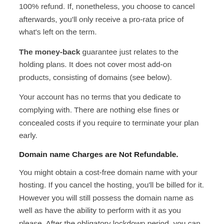100% refund. If, nonetheless, you choose to cancel afterwards, you'll only receive a pro-rata price of what's left on the term.
The money-back guarantee just relates to the holding plans. It does not cover most add-on products, consisting of domains (see below).
Your account has no terms that you dedicate to complying with. There are nothing else fines or concealed costs if you require to terminate your plan early.
Domain name Charges are Not Refundable.
You might obtain a cost-free domain name with your hosting. If you cancel the hosting, you'll be billed for it. However you will still possess the domain name as well as have the ability to perform with it as you please. After the obligatory lockdown period, you can transfer it. It stays your own as long as you keep restoring it.